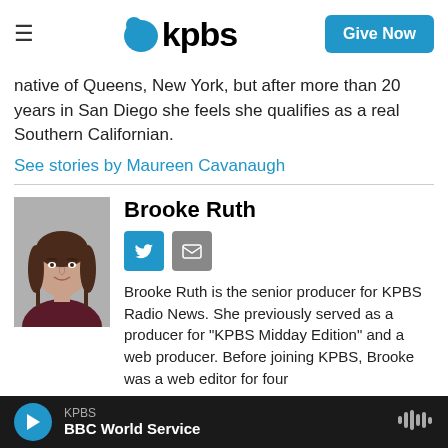KPBS — Give Now
native of Queens, New York, but after more than 20 years in San Diego she feels she qualifies as a real Southern Californian.
See stories by Maureen Cavanaugh
Brooke Ruth
[Figure (photo): Headshot photo of Brooke Ruth, a woman with dark brown hair wearing a dark maroon top, photographed against a grey background]
Brooke Ruth is the senior producer for KPBS Radio News. She previously served as a producer for "KPBS Midday Edition" and a web producer. Before joining KPBS, Brooke was a web editor for four
KPBS — BBC World Service